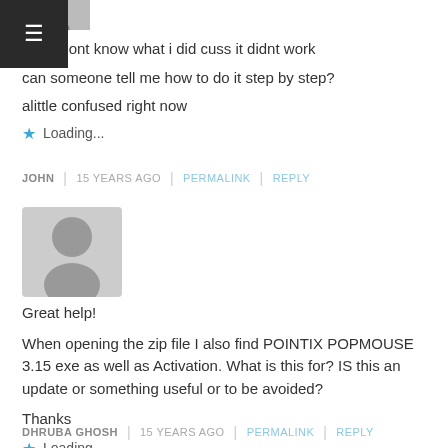[Figure (illustration): Partially cropped user avatar icon at top of page]
Hey i dont know what i did cuss it didnt work
can someone tell me how to do it step by step?
alittle confused right now
Loading...
JOHN | 15 YEARS AGO | PERMALINK | REPLY
[Figure (illustration): Grey generic user avatar silhouette icon]
Great help!

When opening the zip file I also find POINTIX POPMOUSE 3.15 exe as well as Activation. What is this for? IS this an update or something useful or to be avoided?

Thanks
Loading...
DHRUBA GHOSH | 15 YEARS AGO | PERMALINK | REPLY